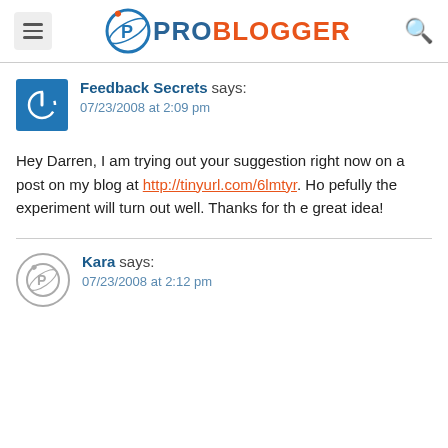ProBlogger
Feedback Secrets says: 07/23/2008 at 2:09 pm
Hey Darren, I am trying out your suggestion right now on a post on my blog at http://tinyurl.com/6lmtyr. Hopefully the experiment will turn out well. Thanks for the great idea!
Kara says: 07/23/2008 at 2:12 pm